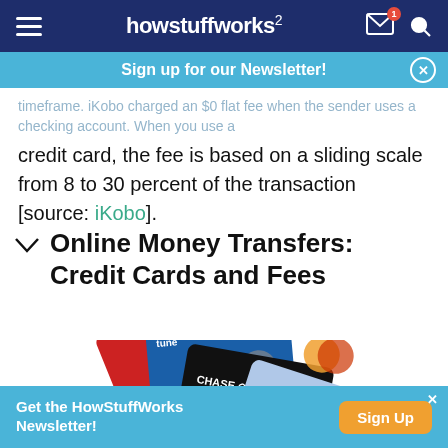howstuffworks
Sign up for our Newsletter!
timeframe. iKobo charged an $0 flat fee when the sender uses a checking account. When you use a credit card, the fee is based on a sliding scale from 8 to 30 percent of the transaction [source: iKobo].
Online Money Transfers: Credit Cards and Fees
[Figure (photo): Fanned out credit cards including Macy's (red), Chase (black), a blue Visa/Maestro card, and a silver Visa card]
Get the HowStuffWorks Newsletter!